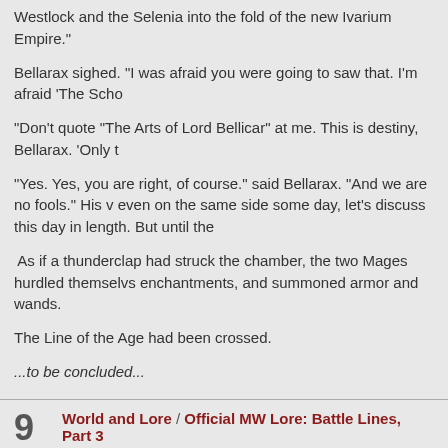Westlock and the Selenia into the fold of the new Ivarium Empire."
Bellarax sighed. "I was afraid you were going to saw that. I'm afraid 'The Scho
"Don't quote "The Arts of Lord Bellicar" at me. This is destiny, Bellarax. 'Only f
"Yes. Yes, you are right, of course." said Bellarax. "And we are no fools." His v even on the same side some day, let's discuss this day in length. But until the
As if a thunderclap had struck the chamber, the two Mages hurdled themselves enchantments, and summoned armor and wands.
The Line of the Age had been crossed.
...to be concluded...
9 World and Lore / Official MW Lore: Battle Lines, Part 3
« on: May 31, 2016, 02:46:14 PM »
Part 2 recap: Bellarax and Domatra begin translations on the strange Drakko surrounding them in shimmering white light. All around them, they feel the de they find themselves floating on a celestial island, with the stars overheads m of the island, they can see a strange Orb, floating and pulsating with multicolo it.